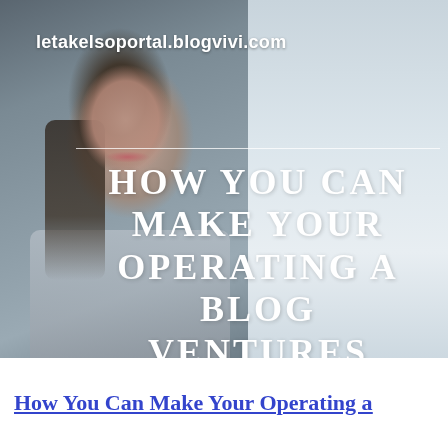letakelsoportal.blogvivi.com
[Figure (photo): Background photo of a smiling professional woman with dark hair, wearing a grey striped top, in an office-like setting with light background]
HOW YOU CAN MAKE YOUR OPERATING A BLOG VENTURES PROFITABLE
How You Can Make Your Operating a